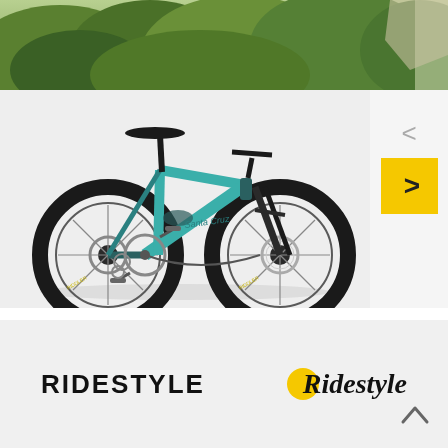[Figure (photo): Top photo showing green leafy trees/foliage outdoor scene]
[Figure (photo): Side profile photo of a teal/turquoise full-suspension mountain bike on light gray background, with navigation arrows on the right side]
[Figure (logo): Two versions of the Ridestyle logo: left is all-caps bold black text 'RIDESTYLE'; right is 'Ridestyle' in bold italic with a yellow circle behind the R]
[Figure (other): Scroll-to-top button (caret/chevron pointing up) in bottom right corner]